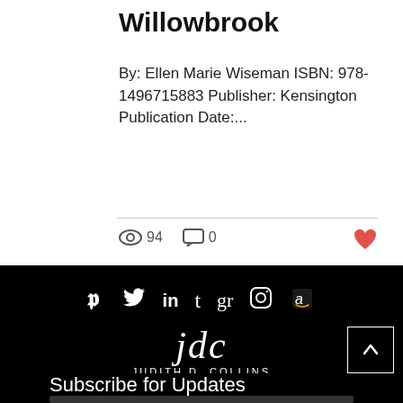Willowbrook
By: Ellen Marie Wiseman ISBN: 978-1496715883 Publisher: Kensington Publication Date:...
94 views  0 comments  like
[Figure (screenshot): Social media icons row: Pinterest, Twitter, LinkedIn, Tumblr, Goodreads, Instagram, Amazon on black background]
[Figure (logo): Judith D. Collins logo with cursive jdc signature, name JUDITH D. COLLINS, tagline #JdcMustReadBooks | book blogger]
Subscribe for Updates